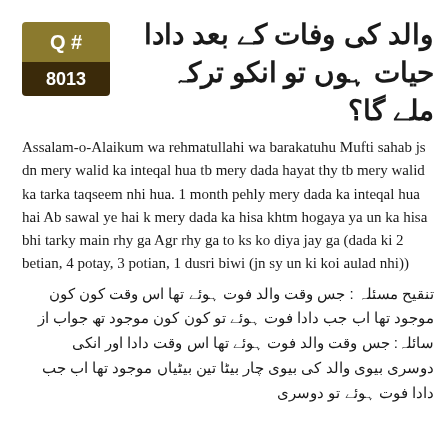والد کی وفات کے بعد دادا حیات ہوں تو انکو ترکہ ملے گا؟
Assalam-o-Alaikum wa rehmatullahi wa barakatuhu Mufti sahab js dn mery walid ka inteqal hua tb mery dada hayat thy tb mery walid ka tarka taqseem nhi hua. 1 month pehly mery dada ka inteqal hua hai Ab sawal ye hai k mery dada ka hisa khtm hogaya ya un ka hisa bhi tarky main rhy ga Agr rhy ga to ks ko diya jay ga (dada ki 2 betian, 4 potay, 3 potian, 1 dusri biwi (jn sy un ki koi aulad nhi))
تنقیح مسئلہ : جس وقت والد فوت ہوئے تھا اس وقت کون کون موجود تھا اب جب دادا فوت ہوئے تو کون کون موجود تھ جواب از سائل: جس وقت والد فوت ہوئے تھا اس وقت دادا اور انکی دوسری بیوی والد کی بیوی چار بیٹا تین بیٹیاں موجود تھا اب جب دادا فوت ہوئے تو دوسری